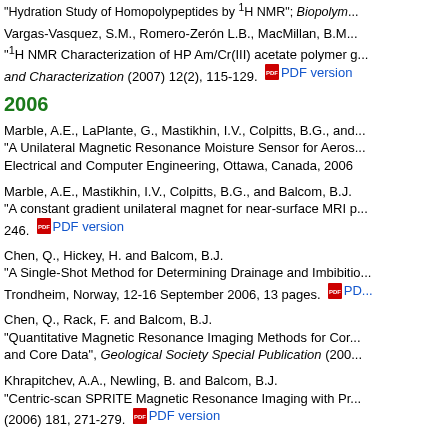Hydration Study of Homopolypeptides by 1H NMR ; Biopolym...
Vargas-Vasquez, S.M., Romero-Zerón L.B., MacMillan, B.M. "1H NMR Characterization of HP Am/Cr(III) acetate polymer g and Characterization (2007) 12(2), 115-129. PDF version
2006
Marble, A.E., LaPlante, G., Mastikhin, I.V., Colpitts, B.G., and... "A Unilateral Magnetic Resonance Moisture Sensor for Aeros... Electrical and Computer Engineering, Ottawa, Canada, 2006
Marble, A.E., Mastikhin, I.V., Colpitts, B.G., and Balcom, B.J. "A constant gradient unilateral magnet for near-surface MRI p... 246. PDF version
Chen, Q., Hickey, H. and Balcom, B.J. "A Single-Shot Method for Determining Drainage and Imbibitio... Trondheim, Norway, 12-16 September 2006, 13 pages. PDF version
Chen, Q., Rack, F. and Balcom, B.J. "Quantitative Magnetic Resonance Imaging Methods for Cor... and Core Data", Geological Society Special Publication (200...
Khrapitchev, A.A., Newling, B. and Balcom, B.J. "Centric-scan SPRITE Magnetic Resonance Imaging with Pr... (2006) 181, 271-279. PDF version